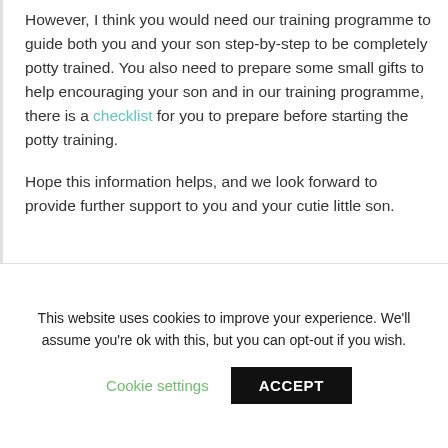However, I think you would need our training programme to guide both you and your son step-by-step to be completely potty trained. You also need to prepare some small gifts to help encouraging your son and in our training programme, there is a check-list for you to prepare before starting the potty training.
Hope this information helps, and we look forward to provide further support to you and your cutie little son.
This website uses cookies to improve your experience. We'll assume you're ok with this, but you can opt-out if you wish.
Cookie settings   ACCEPT